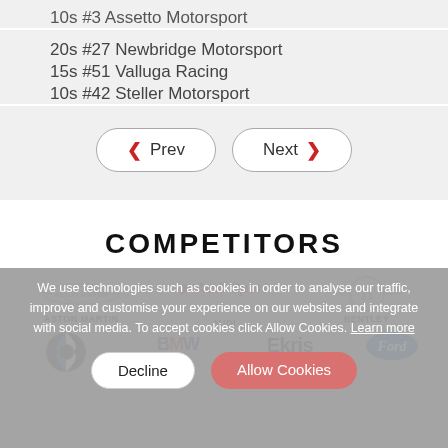10s #3 Assetto Motorsport
20s #27 Newbridge Motorsport
15s #51 Valluga Racing
10s #42 Steller Motorsport
COMPETITORS
We use technologies such as cookies in order to analyse our traffic, improve and customise your experience on our websites and integrate with social media. To accept cookies click Allow Cookies. Learn more
Decline  Allow Cookies
[Figure (logo): Aston Martin logo with wings]
ASTON MARTIN
[Figure (logo): Audi Sport logo in red and italic]
AUDI
[Figure (logo): Bentley logo with B and wings]
BENTLEY
[Figure (logo): BMW logo]
[Figure (logo): BMW M logo]
[Figure (logo): Ekris BMW logo]
[Figure (logo): Ford oval logo]